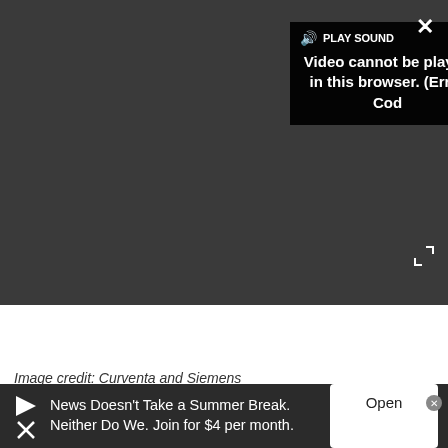[Figure (screenshot): Video player with dark gray background showing a black error popup overlay with speaker icon and 'PLAY SOUND' text, message 'Video cannot be played in this browser. (Error Cod', a white X close button top right, and an expand icon bottom right. Below the player area is an image of a long blue and orange rocket-shaped land speed record car on a white background.]
Image credit: Curventa and Siemens
News Doesn't Take a Summer Break. Neither Do We. Join for $4 per month.